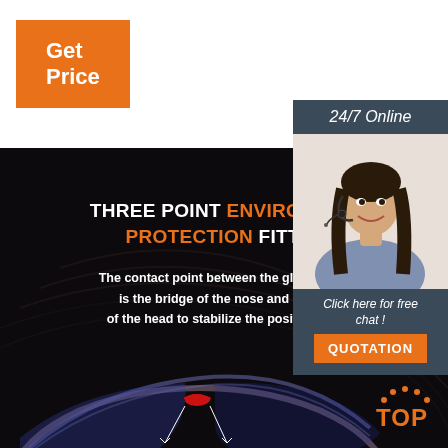[Figure (other): Orange 'Get Price' button in top-left corner]
[Figure (infographic): Dark background product infographic showing 'THREE POINT ENVIRONMENT PROTECTION FITTING' with text about contact points between glasses and the head (bridge of nose and both sides), and a product image of eyewear/safety glasses with red nose bridge piece and white measurement indicators, plus a TOP logo in the lower right]
[Figure (photo): 24/7 Online customer service sidebar panel with photo of a smiling woman wearing a headset, 'Click here for free chat!' text, and an orange QUOTATION button]